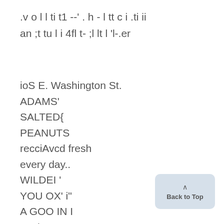.v o l l ti t1 --' . h - l tt c i .ti ii
an ;t tu l i 4fl t- ;l lt l 'l-.er
ioS E. Washington St.
ADAMS'
SALTED{
PEANUTS
recciAvcd fresh
every day..
WILDEI '
YOU OX' i"
A GOO IN I
SN is
iM0.